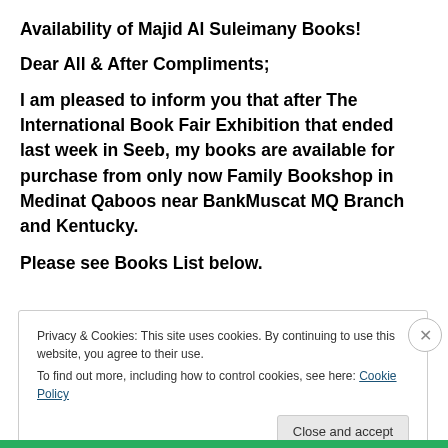Availability of Majid Al Suleimany Books!
Dear All & After Compliments;
I am pleased to inform you that after The International Book Fair Exhibition that ended last week in Seeb, my books are available for purchase from only now Family Bookshop in Medinat Qaboos near BankMuscat MQ Branch and Kentucky.
Please see Books List below.
Privacy & Cookies: This site uses cookies. By continuing to use this website, you agree to their use.
To find out more, including how to control cookies, see here: Cookie Policy